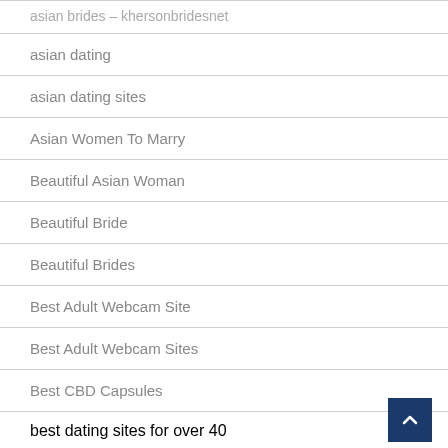asian brides – khersonbridesnet
asian dating
asian dating sites
Asian Women To Marry
Beautiful Asian Woman
Beautiful Bride
Beautiful Brides
Best Adult Webcam Site
Best Adult Webcam Sites
Best CBD Capsules
best dating sites for over 40